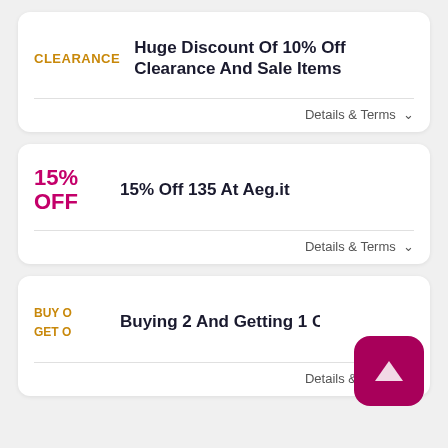CLEARANCE
Huge Discount Of 10% Off Clearance And Sale Items
Details & Terms
15% OFF
15% Off 135 At Aeg.it
Details & Terms
BUY O
GET O
Buying 2 And Getting 1 On A
Details & Terms